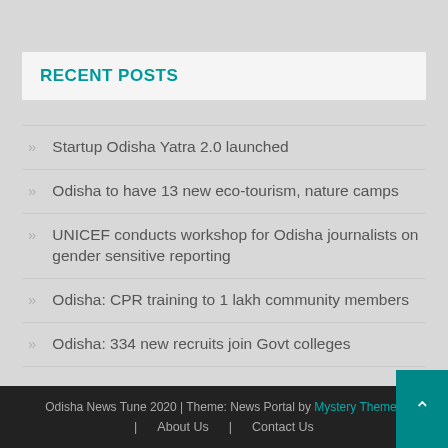RECENT POSTS
Startup Odisha Yatra 2.0 launched
Odisha to have 13 new eco-tourism, nature camps
UNICEF conducts workshop for Odisha journalists on gender sensitive reporting
Odisha: CPR training to 1 lakh community members
Odisha: 334 new recruits join Govt colleges
Odisha News Tune 2020 | Theme: News Portal by Mystery Themes | About Us | Contact Us